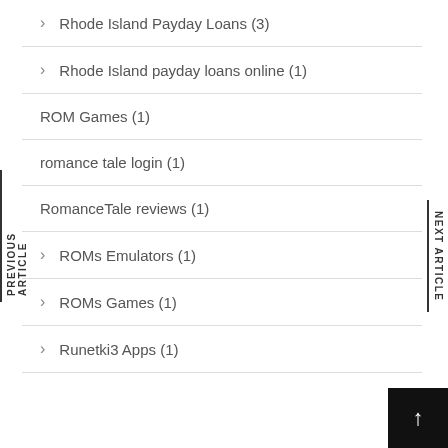Rhode Island Payday Loans (3)
Rhode Island payday loans online (1)
ROM Games (1)
romance tale login (1)
RomanceTale reviews (1)
ROMs Emulators (1)
ROMs Games (1)
Runetki3 Apps (1)